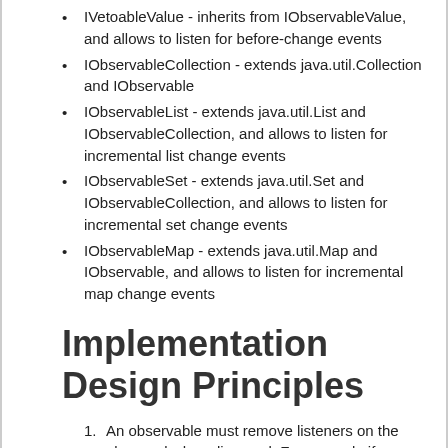IVetoableValue - inherits from IObservableValue, and allows to listen for before-change events
IObservableCollection - extends java.util.Collection and IObservable
IObservableList - extends java.util.List and IObservableCollection, and allows to listen for incremental list change events
IObservableSet - extends java.util.Set and IObservableCollection, and allows to listen for incremental set change events
IObservableMap - extends java.util.Map and IObservable, and allows to listen for incremental map change events
Implementation Design Principles
An observable must remove listeners on the observed when disposed. For example if you registered selection listeners on a widget when the observable was constructed it must remove these on dispose of the observable.